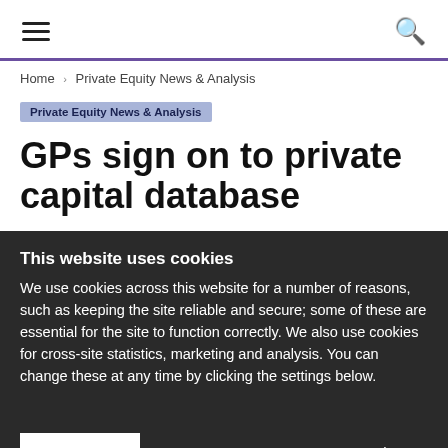≡  🔍
Home › Private Equity News & Analysis
Private Equity News & Analysis
GPs sign on to private capital database
This website uses cookies
We use cookies across this website for a number of reasons, such as keeping the site reliable and secure; some of these are essential for the site to function correctly. We also use cookies for cross-site statistics, marketing and analysis. You can change these at any time by clicking the settings below.
OK   Settings